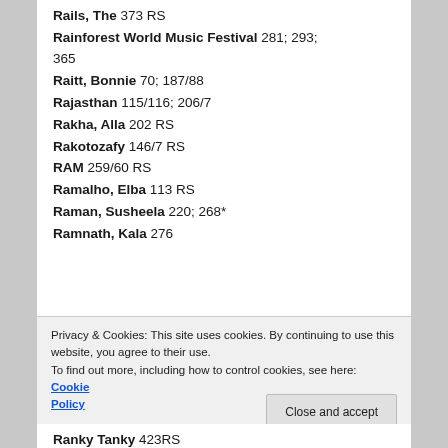Rails, The 373 RS
Rainforest World Music Festival 281; 293; 365
Raitt, Bonnie 70; 187/88
Rajasthan 115/116; 206/7
Rakha, Alla 202 RS
Rakotozafy 146/7 RS
RAM 259/60 RS
Ramalho, Elba 113 RS
Raman, Susheela 220; 268*
Ramnath, Kala 276
Privacy & Cookies: This site uses cookies. By continuing to use this website, you agree to their use. To find out more, including how to control cookies, see here: Cookie Policy
Ranky Tanky 423RS